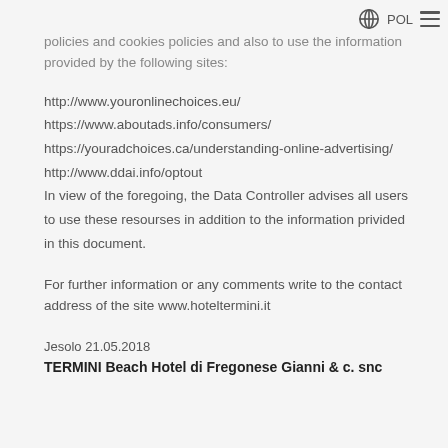POL
policies and cookies policies and also to use the information provided by the following sites:
http://www.youronlinechoices.eu/
https://www.aboutads.info/consumers/
https://youradchoices.ca/understanding-online-advertising/
http://www.ddai.info/optout
In view of the foregoing, the Data Controller advises all users to use these resourses in addition to the information privided in this document.
For further information or any comments write to the contact address of the site www.hoteltermini.it
Jesolo 21.05.2018
TERMINI Beach Hotel di Fregonese Gianni & c. snc